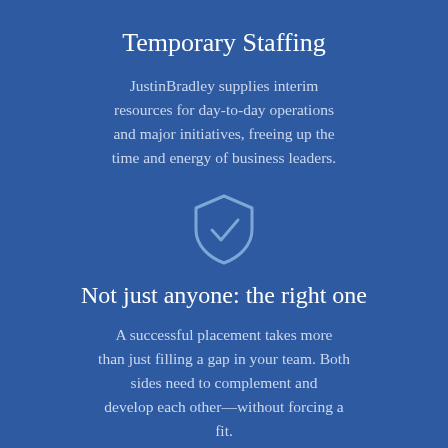Temporary Staffing
JustinBradley supplies interim resources for day-to-day operations and major initiatives, freeing up the time and energy of business leaders.
[Figure (illustration): Shield icon with a checkmark inside, light blue outline on dark blue background]
Not just anyone: the right one
A successful placement takes more than just filling a gap in your team. Both sides need to complement and develop each other—without forcing a fit.